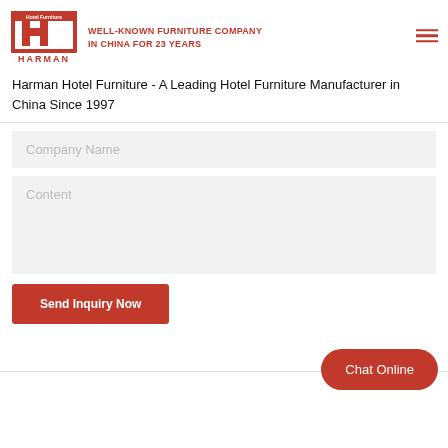[Figure (logo): Harman Hotel Furniture logo — red square with stylized H, text HARMAN below in red, tagline WELL-KNOWN FURNITURE COMPANY IN CHINA FOR 23 YEARS in red to the right]
Harman Hotel Furniture - A Leading Hotel Furniture Manufacturer in China Since 1997
Company Name
Content
Send Inquiry Now
Chat Online